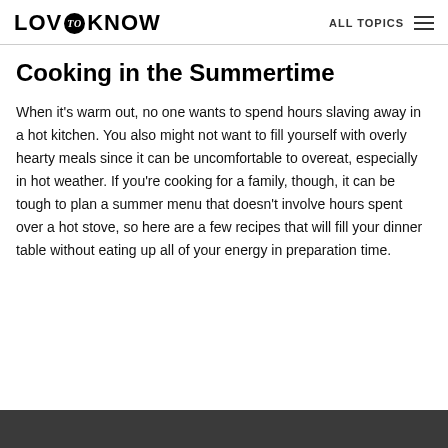LOVE to KNOW   ALL TOPICS
Cooking in the Summertime
When it's warm out, no one wants to spend hours slaving away in a hot kitchen. You also might not want to fill yourself with overly hearty meals since it can be uncomfortable to overeat, especially in hot weather. If you're cooking for a family, though, it can be tough to plan a summer menu that doesn't involve hours spent over a hot stove, so here are a few recipes that will fill your dinner table without eating up all of your energy in preparation time.